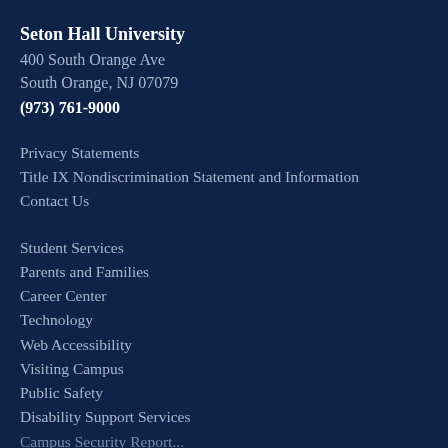Seton Hall University
400 South Orange Ave
South Orange, NJ 07079
(973) 761-9000
Privacy Statements
Title IX Nondiscrimination Statement and Information
Contact Us
Student Services
Parents and Families
Career Center
Technology
Web Accessibility
Visiting Campus
Public Safety
Disability Support Services
Campus Security Report...